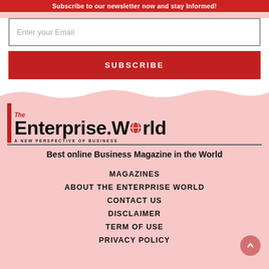Subscribe to our newsletter now and stay Informed!
Enter your Email
SUBSCRIBE
[Figure (logo): The Enterprise World logo — red vertical bar, 'The' in red italic, 'EnterpriseWorld' in bold black with globe icon, 'A NEW PERSPECTIVE OF BUSINESS' tagline below]
Best online Business Magazine in the World
MAGAZINES
ABOUT THE ENTERPRISE WORLD
CONTACT US
DISCLAIMER
TERM OF USE
PRIVACY POLICY